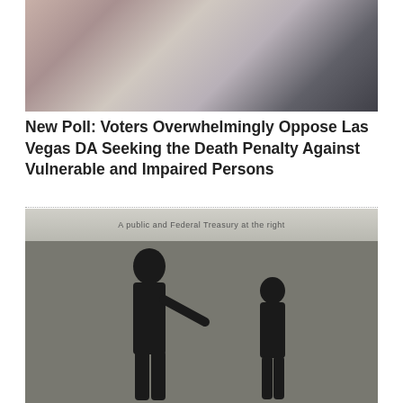[Figure (photo): Blurry color photo showing an outdoor scene with people, possibly a street or courtyard with reddish and muted tones]
New Poll: Voters Overwhelmingly Oppose Las Vegas DA Seeking the Death Penalty Against Vulnerable and Impaired Persons
[Figure (photo): Black and white newspaper-style photo showing two silhouetted figures facing each other, with a blurred newspaper headline at the top of the image]